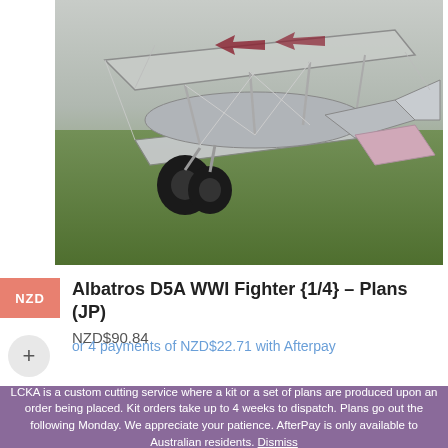[Figure (photo): Aerial/close-up photo of an Albatros D5A WWI Fighter model aircraft on grass, showing the fuselage, wings with struts, and landing gear/wheels. The aircraft appears silver/grey with red markings.]
NZD
Albatros D5A WWI Fighter {1/4} – Plans (JP)
NZD$90.84
or 4 payments of NZD$22.71 with Afterpay
LCKA is a custom cutting service where a kit or a set of plans are produced upon an order being placed. Kit orders take up to 4 weeks to dispatch. Plans go out the following Monday. We appreciate your patience. AfterPay is only available to Australian residents. Dismiss